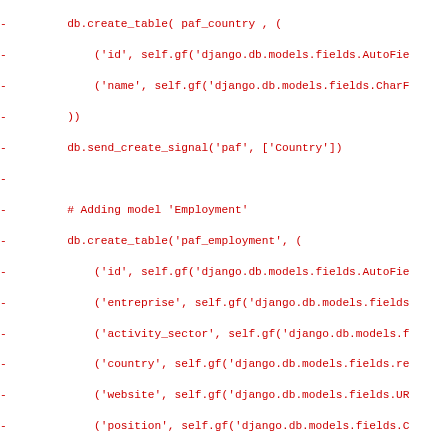Code snippet showing Django database migration code with db.create_table and db.send_create_signal calls for Country, Employment, City, and Entreprise models